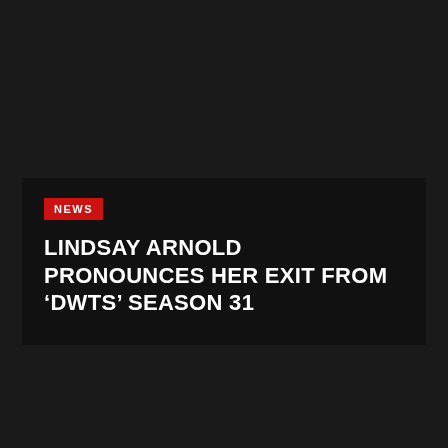[Figure (other): Dark background news card with a red NEWS badge and bold white headline text on near-black background]
NEWS
LINDSAY ARNOLD PRONOUNCES HER EXIT FROM ‘DWTS’ SEASON 31